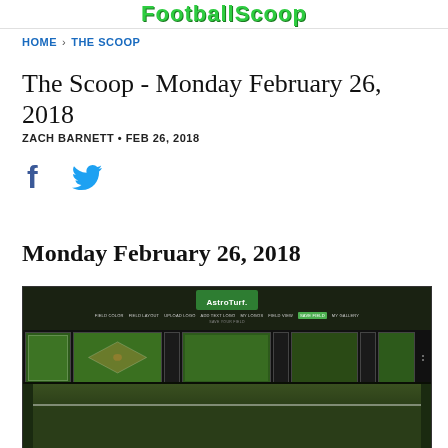FootballScoop
HOME › THE SCOOP
The Scoop - Monday February 26, 2018
ZACH BARNETT • FEB 26, 2018
[Figure (infographic): Social share icons: Facebook and Twitter]
Monday February 26, 2018
[Figure (screenshot): Screenshot of AstroTurf field designer tool showing football field layout options, navigation menu with FIELD COLOR, FIELD LAYOUT, UPLOAD LOGO, ADD TEXT LOGO, MY LOGOS, FIELD VIEW, SAVE FIELD, MY GALLERY. Below shows gallery of field thumbnails including baseball field. Bottom portion shows close-up of football field with yard line markers.]